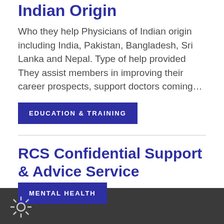Indian Origin
Who they help Physicians of Indian origin including India, Pakistan, Bangladesh, Sri Lanka and Nepal. Type of help provided They assist members in improving their career prospects, support doctors coming…
EDUCATION & TRAINING
RCS Confidential Support & Advice Service
Who they help All surgeons and members of the Royal College of Surgeons (RCS). Type of help provided A surgeon-to-surgeon helpline for surgeons facing professional difficulties. The service offers a listening…
MENTAL HEALTH